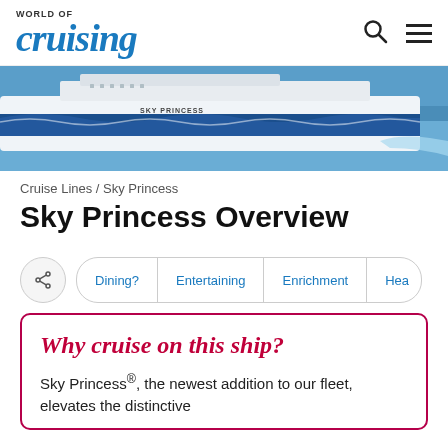World of Cruising
[Figure (photo): Sky Princess cruise ship at sea, showing the blue hull with wave design and the ship name SKY PRINCESS on the side]
Cruise Lines / Sky Princess
Sky Princess Overview
Dining? | Entertaining | Enrichment | Hea…
Why cruise on this ship?
Sky Princess®, the newest addition to our fleet, elevates the distinctive